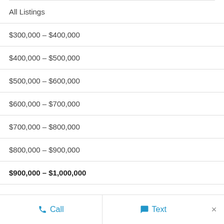All Listings
$300,000 – $400,000
$400,000 – $500,000
$500,000 – $600,000
$600,000 – $700,000
$700,000 – $800,000
$800,000 – $900,000
$900,000 – $1,000,000
Call   Text   ×